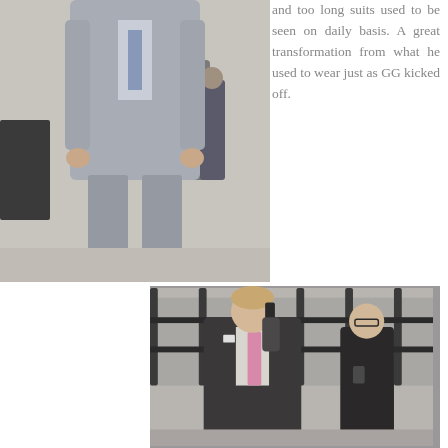[Figure (photo): Man in light grey suit walking on a city street, shot from mid-body downward, showing legs and shoes.]
and too long suits used to be seen on daily basis. A great transformation from what he used to wear just as GG kicked off.
[Figure (photo): Young man in dark suit with pink tie talking on a phone, walking outdoors near an iron fence. A woman in a black coat and glasses is visible in the background.]